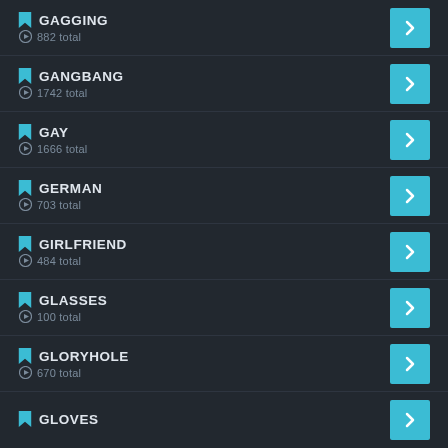GAGGING — 882 total
GANGBANG — 1742 total
GAY — 1666 total
GERMAN — 703 total
GIRLFRIEND — 484 total
GLASSES — 100 total
GLORYHOLE — 670 total
GLOVES